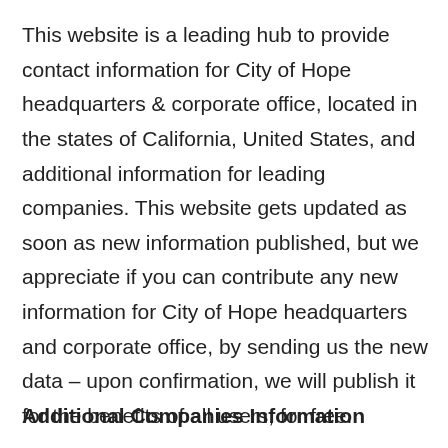This website is a leading hub to provide contact information for City of Hope headquarters & corporate office, located in the states of California, United States, and additional information for leading companies. This website gets updated as soon as new information published, but we appreciate if you can contribute any new information for City of Hope headquarters and corporate office, by sending us the new data – upon confirmation, we will publish it for the benefits of all users, for free.
Additional Companies Information